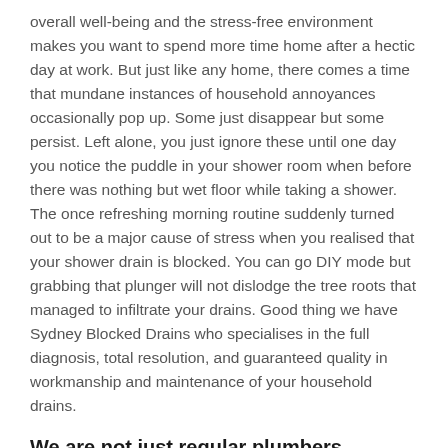overall well-being and the stress-free environment makes you want to spend more time home after a hectic day at work. But just like any home, there comes a time that mundane instances of household annoyances occasionally pop up. Some just disappear but some persist. Left alone, you just ignore these until one day you notice the puddle in your shower room when before there was nothing but wet floor while taking a shower. The once refreshing morning routine suddenly turned out to be a major cause of stress when you realised that your shower drain is blocked. You can go DIY mode but grabbing that plunger will not dislodge the tree roots that managed to infiltrate your drains. Good thing we have Sydney Blocked Drains who specialises in the full diagnosis, total resolution, and guaranteed quality in workmanship and maintenance of your household drains.
We are not just regular plumbers
Our team at Sydney Blocked Drains are not just any regular plumbers. We are a group of young, highly skilled professionals specialised in diagnosing and repairing blocked and broken